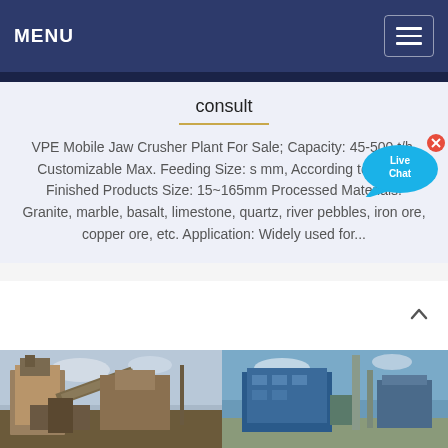MENU
consult
VPE Mobile Jaw Crusher Plant For Sale; Capacity: 45-500 t/h, Customizable Max. Feeding Size: s mm, According to model Finished Products Size: 15~165mm Processed Materials: Granite, marble, basalt, limestone, quartz, river pebbles, iron ore, copper ore, etc. Application: Widely used for...
[Figure (photo): Left half: industrial jaw crusher plant with conveyor belts and machinery, outdoor setting]
[Figure (photo): Right half: industrial blue building/facility with machinery, outdoor setting]